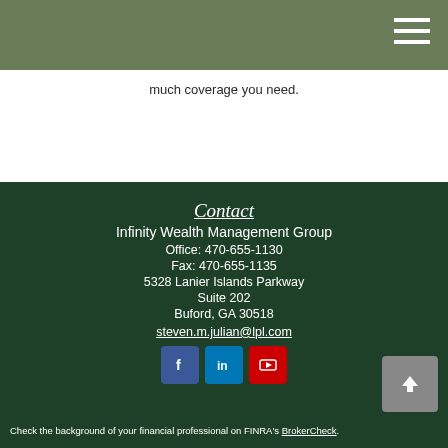much coverage you need.
Contact
Infinity Wealth Management Group
Office: 470-655-1130
Fax: 470-655-1135
5328 Lanier Islands Parkway
Suite 202
Buford, GA 30518
steven.m.julian@lpl.com
[Figure (logo): Social media icons: Facebook, LinkedIn, YouTube]
Check the background of your financial professional on FINRA's BrokerCheck.